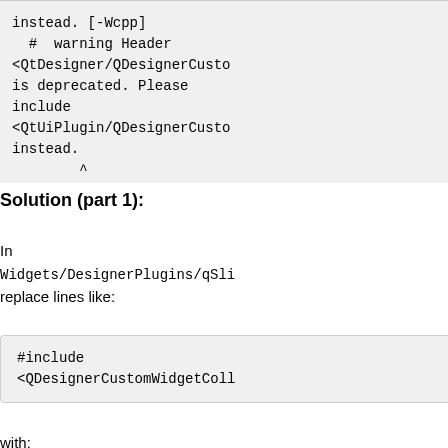[Figure (screenshot): Code block showing compiler warning about deprecated QtDesigner header, suggesting to use QtUiPlugin instead, with caret indicator]
Solution (part 1):
In Widgets/DesignerPlugins/qSli replace lines like:
[Figure (screenshot): Code block showing #include <QDesignerCustomWidgetColl]
with:
[Figure (screenshot): Code block showing #include "vtkSlicerConfigure.h" // For Slicer HAVE_QT5]